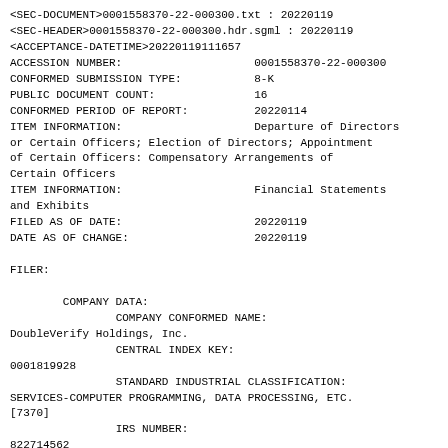<SEC-DOCUMENT>0001558370-22-000300.txt : 20220119
<SEC-HEADER>0001558370-22-000300.hdr.sgml : 20220119
<ACCEPTANCE-DATETIME>20220119111657
ACCESSION NUMBER:                       0001558370-22-000300
CONFORMED SUBMISSION TYPE:              8-K
PUBLIC DOCUMENT COUNT:                  16
CONFORMED PERIOD OF REPORT:             20220114
ITEM INFORMATION:                       Departure of Directors
or Certain Officers; Election of Directors; Appointment
of Certain Officers: Compensatory Arrangements of
Certain Officers
ITEM INFORMATION:                       Financial Statements
and Exhibits
FILED AS OF DATE:                       20220119
DATE AS OF CHANGE:                      20220119

FILER:

		COMPANY DATA:
				COMPANY CONFORMED NAME:
DoubleVerify Holdings, Inc.
				CENTRAL INDEX KEY:
0001819928
				STANDARD INDUSTRIAL CLASSIFICATION:
SERVICES-COMPUTER PROGRAMMING, DATA PROCESSING, ETC.
[7370]
				IRS NUMBER:
822714562
				STATE OF INCORPORATION: